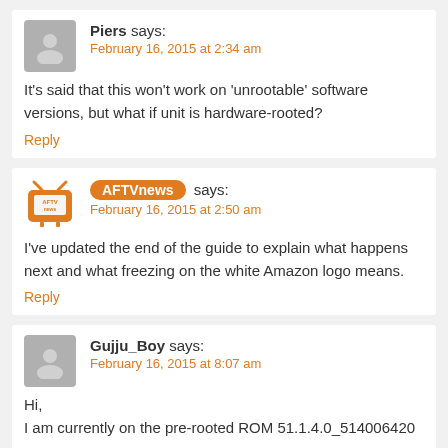Piers says: February 16, 2015 at 2:34 am
It's said that this won't work on 'unrootable' software versions, but what if unit is hardware-rooted?
Reply
AFTVnews says: February 16, 2015 at 2:50 am
I've updated the end of the guide to explain what happens next and what freezing on the white Amazon logo means.
Reply
Gujju_Boy says: February 16, 2015 at 8:07 am
Hi,
I am currently on the pre-rooted ROM 51.1.4.0_514006420